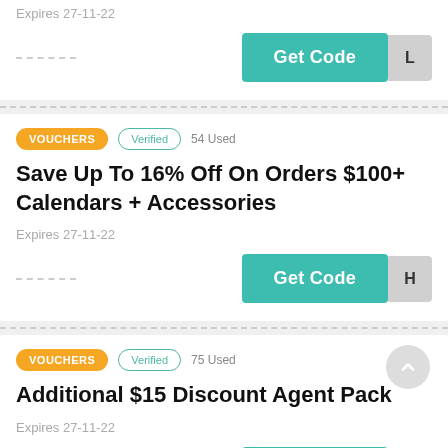Expires 27-11-22
Get Code  L
VOUCHERS  Verified  54 Used
Save Up To 16% Off On Orders $100+ Calendars + Accessories
Expires 27-11-22
Get Code  H
VOUCHERS  Verified  75 Used
Additional $15 Discount Agent Pack
Expires 27-11-22
Get Code